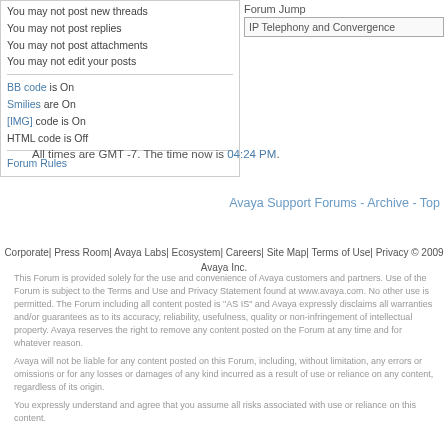| Posting Rules | Forum Jump |
| --- | --- |
| You may not post new threads
You may not post replies
You may not post attachments
You may not edit your posts

BB code is On
Smilies are On
[IMG] code is On
HTML code is Off

Forum Rules | Forum Jump
IP Telephony and Convergence |
All times are GMT -7. The time now is 04:24 PM.
Avaya Support Forums - Archive - Top
Corporate| Press Room| Avaya Labs| Ecosystem| Careers| Site Map| Terms of Use| Privacy © 2009 Avaya Inc.
This Forum is provided solely for the use and convenience of Avaya customers and partners. Use of the Forum is subject to the Terms and Use and Privacy Statement found at www.avaya.com. No other use is permitted. The Forum including all content posted is "AS IS" and Avaya expressly disclaims all warranties and/or guarantees as to its accuracy, reliability, usefulness, quality or non-infringement of intellectual property. Avaya reserves the right to remove any content posted on the Forum at any time and for whatever reason.
Avaya will not be liable for any content posted on this Forum, including, without limitation, any errors or omissions or for any losses or damages of any kind incurred as a result of use or reliance on any content, regardless of its origin.
You expressly understand and agree that you assume all risks associated with use or reliance on this content.